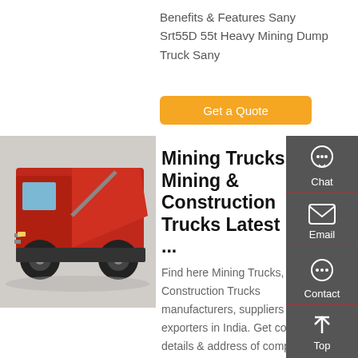Benefits & Features Sany Srt55D 55t Heavy Mining Dump Truck Sany
Get a Quote
[Figure (photo): Red mining dump truck photographed from the side/rear angle showing cab and bed]
Mining Trucks - Mining & Construction Trucks Latest Price, ...
Find here Mining Trucks, Mining & Construction Trucks manufacturers, suppliers & exporters in India. Get contact details & address of companies
Chat
Email
Contact
Top